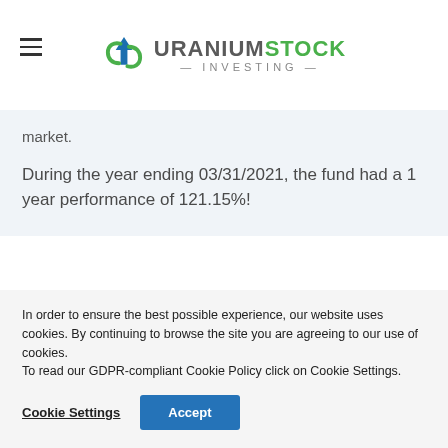[Figure (logo): Uranium Stock Investing logo with arrow/letter icon and text]
market.
During the year ending 03/31/2021, the fund had a 1 year performance of 121.15%!
In order to ensure the best possible experience, our website uses cookies. By continuing to browse the site you are agreeing to our use of cookies. To read our GDPR-compliant Cookie Policy click on Cookie Settings.
Cookie Settings   Accept